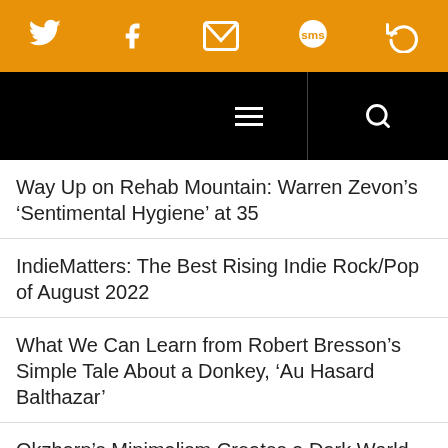[Social share icons: Twitter, Facebook, Email, SMS, Share]
[Navigation bar with hamburger menu and search icon]
Way Up on Rehab Mountain: Warren Zevon’s ‘Sentimental Hygiene’ at 35
IndieMatters: The Best Rising Indie Rock/Pop of August 2022
What We Can Learn from Robert Bresson’s Simple Tale About a Donkey, ‘Au Hasard Balthazar’
Okzharp’s Minimalism Creates a Dark World on ‘Outside the Ride’
T Bone Burnett and Company Cast Sci-Fi ‘Spells’ with an